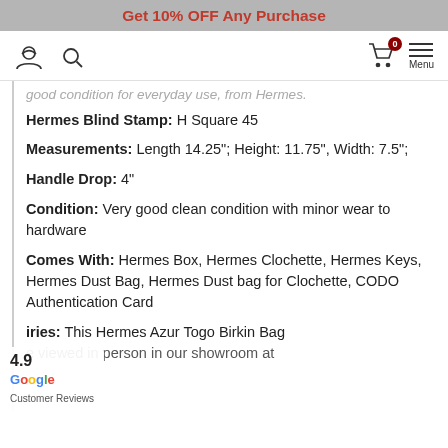Get 10% OFF Any Purchase
good condition for everyday use, from Hermes.
Hermes Blind Stamp: H Square 45
Measurements: Length 14.25"; Height: 11.75", Width: 7.5";
Handle Drop: 4"
Condition: Very good clean condition with minor wear to hardware
Comes With: Hermes Box, Hermes Clochette, Hermes Keys, Hermes Dust Bag, Hermes Dust bag for Clochette, CODO Authentication Card
iries: This Hermes Azur Togo Birkin Bag e viewed in person in our showroom at